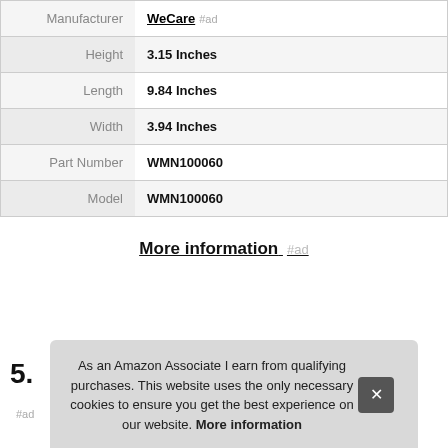| Attribute | Value |
| --- | --- |
| Manufacturer | WeCare #ad |
| Height | 3.15 Inches |
| Length | 9.84 Inches |
| Width | 3.94 Inches |
| Part Number | WMN100060 |
| Model | WMN100060 |
More information #ad
5.
#ad
As an Amazon Associate I earn from qualifying purchases. This website uses the only necessary cookies to ensure you get the best experience on our website. More information